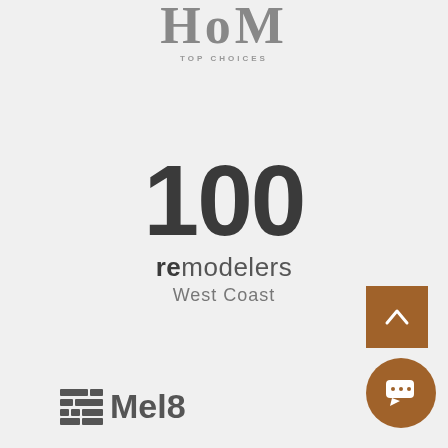[Figure (logo): HoM Top Choices magazine logo - large serif letters HoM with 'TOP CHOICES' subtitle below]
100 remodelers West Coast
[Figure (logo): Mel8 logo with grid icon on the left and 'Mel8' text]
[Figure (other): Scroll-to-top button: brown/orange square with upward chevron arrow]
[Figure (other): Chat button: brown/orange circle with speech bubble and ellipsis icon]